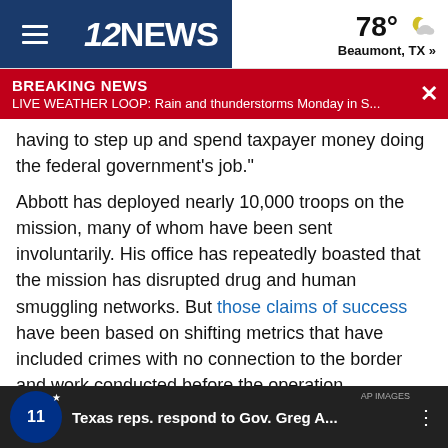12NEWS | 78° Beaumont, TX »
BREAKING NEWS
LIVE WEATHER LOOP: Rain and thunderstorms Monday in S...
having to step up and spend taxpayer money doing the federal government's job."
Abbott has deployed nearly 10,000 troops on the mission, many of whom have been sent involuntarily. His office has repeatedly boasted that the mission has disrupted drug and human smuggling networks. But those claims of success have been based on shifting metrics that have included crimes with no connection to the border and work conducted before the operation.
Editor's note: This story was originally published by The Texas Tribune. KHOU 11's Anayeli Ruiz contributed to this report.
[Figure (screenshot): Video thumbnail showing Texas reps. respond to Gov. Greg A... with 12News logo badge]